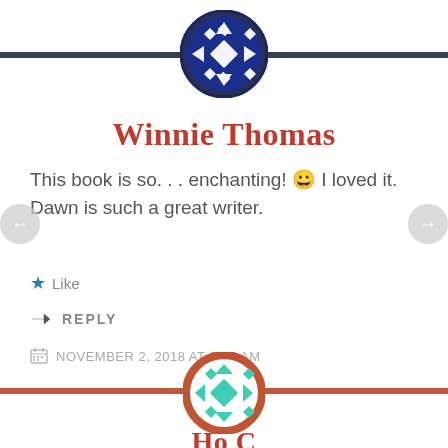[Figure (illustration): Circular avatar icon with blue and white geometric quilt-like pattern, bordered by dark navy ring, positioned at top center on a dark horizontal bar]
Winnie Thomas
This book is so. . . enchanting! 😀 I loved it. Dawn is such a great writer.
★ Like
↪ REPLY
NOVEMBER 2, 2018 AT 2:25 AM
[Figure (illustration): Circular avatar icon with teal/green geometric quilt-like pattern on white, bordered by burnt orange/rust ring, centered on a rust-colored horizontal divider bar]
Ho C